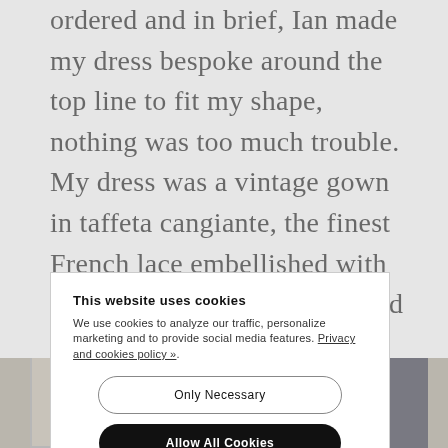ordered and in brief, Ian made my dress bespoke around the top line to fit my shape, nothing was too much trouble. My dress was a vintage gown in taffeta cangiante, the finest French lace embellished with sequins and beads with a fitted bodice, sweetheart neckline.  The mermaid skirt and train have godet panels, creating a beautiful swirling effect when walking.
This website uses cookies
We use cookies to analyze our traffic, personalize marketing and to provide social media features. Privacy and cookies policy ».
Only Necessary
Allow All Cookies
Configure Settings »
[Figure (photo): Bottom strip showing partial photos of people, partially obscured by the cookie banner overlay]